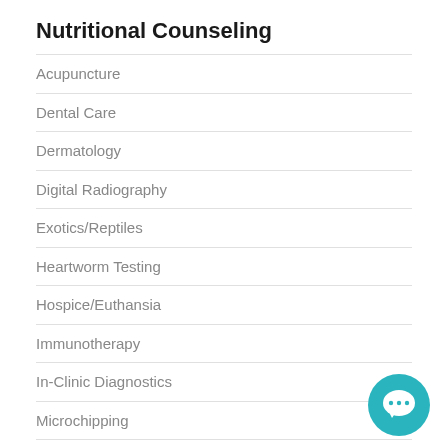Nutritional Counseling
Acupuncture
Dental Care
Dermatology
Digital Radiography
Exotics/Reptiles
Heartworm Testing
Hospice/Euthansia
Immunotherapy
In-Clinic Diagnostics
Microchipping
Nutritional Counseling
Pain Management
Pharmacy